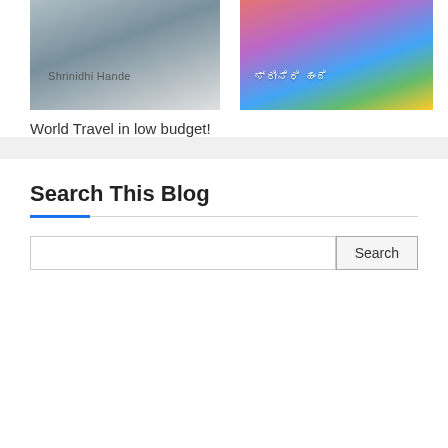[Figure (photo): Two side-by-side blog cover images. Left: a blurred/light image with text 'Shrinidhi Hande'. Right: a colorful image with umbrellas/decorations and Kannada text 'ಶ್ರೀನಿಧಿ ಹಂದೆ'.]
World Travel in low budget!
Search This Blog
Search